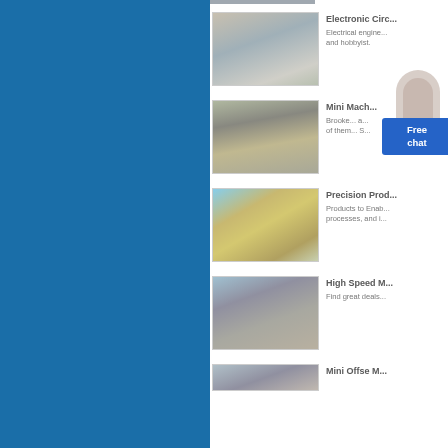[Figure (photo): Partial top image of industrial/mining equipment, cropped at top]
[Figure (photo): Gravel/aggregate stockpile with conveyor machinery at a quarry or mining site]
Electronic Circ...
Electrical engine... and hobbyist.
[Figure (photo): Quarry/mining site with conveyor and processing equipment, worker visible]
Mini Mach...
Brooke... a... of them... S...
[Figure (photo): Yellow and green industrial crushing/screening equipment in an open field]
Precision Prod...
Products to Enab... processes, and i...
[Figure (photo): Mining/crushing machinery near a water body or dry lakebed]
High Speed M...
Find great deals...
[Figure (photo): Partially visible bottom image, industrial machinery]